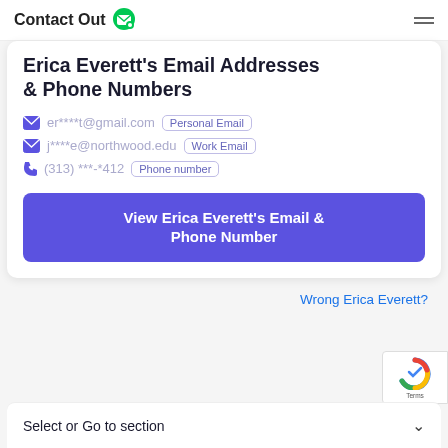ContactOut [logo]
Erica Everett's Email Addresses & Phone Numbers
er****t@gmail.com  Personal Email
j****e@northwood.edu  Work Email
(313) ***-*412  Phone number
View Erica Everett's Email & Phone Number
Wrong Erica Everett?
Select or Go to section